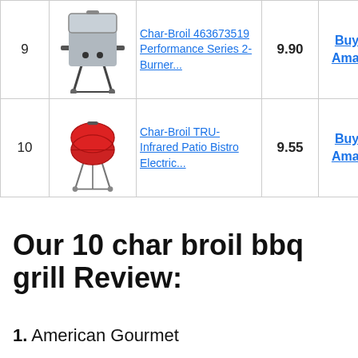| Rank | Image | Product Name | Score | Buy |
| --- | --- | --- | --- | --- |
| 9 | [image] | Char-Broil 463673519 Performance Series 2-Burner... | 9.90 | Buy on Amazon |
| 10 | [image] | Char-Broil TRU-Infrared Patio Bistro Electric... | 9.55 | Buy on Amazon |
Our 10 char broil bbq grill Review:
1. American Gourmet